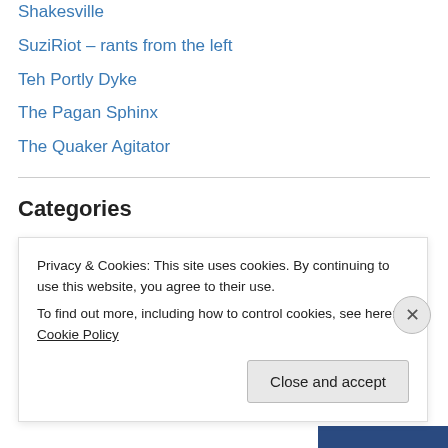Shakesville
SuziRiot – rants from the left
Teh Portly Dyke
The Pagan Sphinx
The Quaker Agitator
Categories
Action/Adventure
Art and Nature
Blogroll
climbing
Dinner with TCR
Privacy & Cookies: This site uses cookies. By continuing to use this website, you agree to their use.
To find out more, including how to control cookies, see here: Cookie Policy
Close and accept